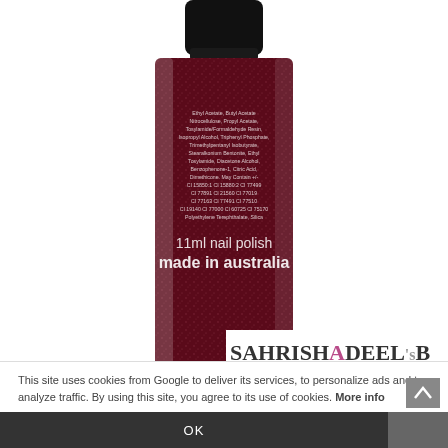[Figure (photo): Back of a dark red/burgundy glitter nail polish bottle with ingredients text and '11ml nail polish made in australia' label. Black cap on top. Square glass bottle on white background.]
Monroe by piCture pOlish
[Figure (logo): SAHRISH ADEEL's BLOG logo with sahrishadeel.com URL]
[Figure (photo): Top/overhead view of the same dark red/burgundy glitter nail polish bottle, showing the open cap with pink/magenta interior and dark glittery nail polish in the square glass bottle.]
This site uses cookies from Google to deliver its services, to personalize ads and to analyze traffic. By using this site, you agree to its use of cookies. More info